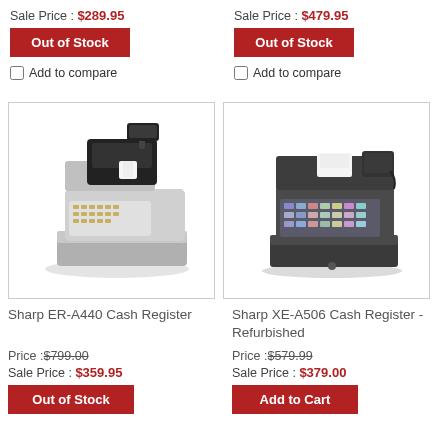Sale Price : $289.95
Out of Stock
Add to compare
Sale Price : $479.95
Out of Stock
Add to compare
[Figure (photo): Sharp ER-A440 Cash Register product photo, white/gray cash register with black display]
[Figure (photo): Sharp XE-A506 Cash Register - Refurbished product photo, dark gray/black cash register]
Sharp ER-A440 Cash Register
Sharp XE-A506 Cash Register - Refurbished
Price :$799.00
Sale Price : $359.95
Out of Stock
Price :$579.99
Sale Price : $379.00
Add to Cart